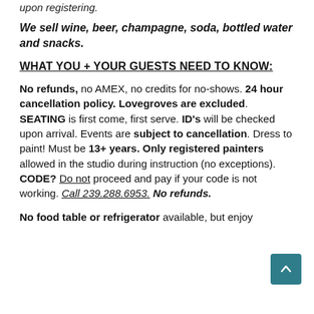upon registering.
We sell wine, beer, champagne, soda, bottled water and snacks.
WHAT YOU + YOUR GUESTS NEED TO KNOW:
No refunds, no AMEX, no credits for no-shows. 24 hour cancellation policy. Lovegroves are excluded. SEATING is first come, first serve. ID's will be checked upon arrival. Events are subject to cancellation. Dress to paint! Must be 13+ years. Only registered painters allowed in the studio during instruction (no exceptions). CODE? Do not proceed and pay if your code is not working. Call 239.288.6953. No refunds.
No food table or refrigerator available, but enjoy